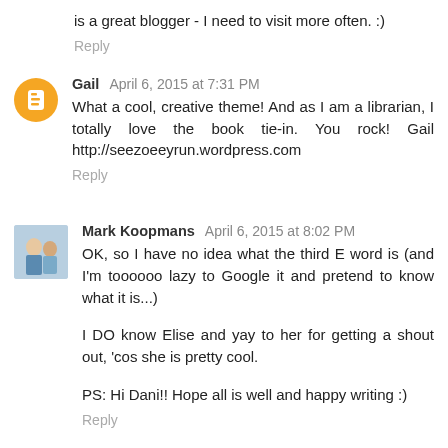is a great blogger - I need to visit more often. :)
Reply
Gail  April 6, 2015 at 7:31 PM
What a cool, creative theme! And as I am a librarian, I totally love the book tie-in. You rock! Gail http://seezoeeyrun.wordpress.com
Reply
Mark Koopmans  April 6, 2015 at 8:02 PM
OK, so I have no idea what the third E word is (and I'm toooooo lazy to Google it and pretend to know what it is...)
I DO know Elise and yay to her for getting a shout out, 'cos she is pretty cool.
PS: Hi Dani!! Hope all is well and happy writing :)
Reply